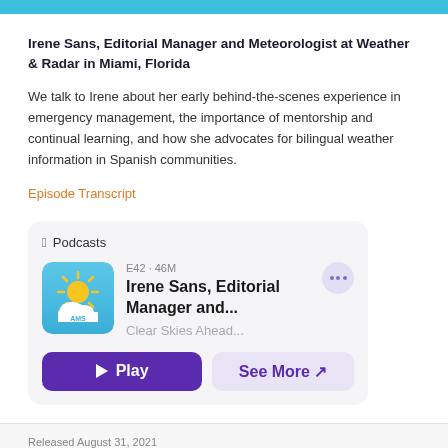Irene Sans, Editorial Manager and Meteorologist at Weather & Radar in Miami, Florida
We talk to Irene about her early behind-the-scenes experience in emergency management, the importance of mentorship and continual learning, and how she advocates for bilingual weather information in Spanish communities.
Episode Transcript
[Figure (screenshot): Apple Podcasts widget showing episode E42 · 46M titled 'Irene Sans, Editorial Manager and...' from Clear Skies Ahead podcast, with Play and See More buttons.]
Released August 31, 2021